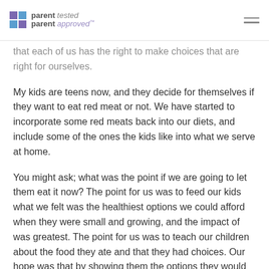parent tested parent approved
that each of us has the right to make choices that are right for ourselves.
My kids are teens now, and they decide for themselves if they want to eat red meat or not. We have started to incorporate some red meats back into our diets, and include some of the ones the kids like into what we serve at home.
You might ask; what was the point if we are going to let them eat it now? The point for us was to feed our kids what we felt was the healthiest options we could afford when they were small and growing, and the impact of was greatest. The point for us was to teach our children about the food they ate and that they had choices. Our hope was that by showing them the options they would and will make the best and healthiest choices (at least most of